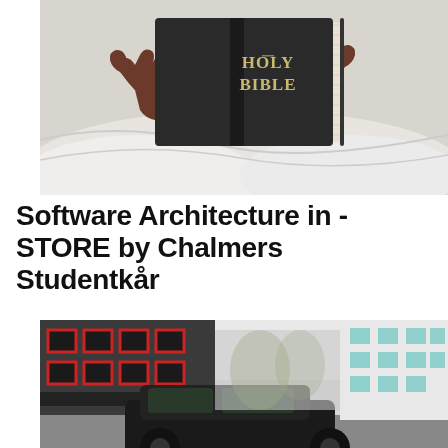[Figure (photo): Person lying in bed reading a Holy Bible, holding it up so only their hands and the book are visible above white bedsheets]
Software Architecture in - STORE by Chalmers Studentkår
[Figure (photo): Street scene with buildings featuring red window frames on the left and white modern buildings on the right, with a dark car in the foreground]